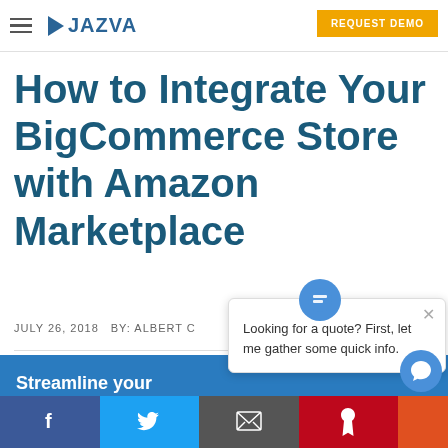JAZVA — REQUEST DEMO
How to Integrate Your BigCommerce Store with Amazon Marketplace
JULY 26, 2018   BY: ALBERT C
Streamline your inventory through Jazva!
[Figure (screenshot): Chat popup: 'Looking for a quote? First, let me gather some quick info.' with close button and chat avatar icon]
[Figure (screenshot): Social share footer with Facebook, Twitter, Email, Pinterest buttons and chat bubble button]